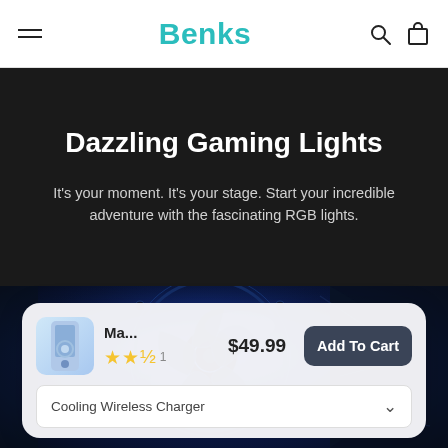Benks
Dazzling Gaming Lights
It's your moment. It's your stage. Start your incredible adventure with the fascinating RGB lights.
[Figure (photo): Close-up photo of a blue RGB PC case fan with glowing blue light highlighting the fan blades and surrounding components]
Ma... $49.99 Add To Cart ★★½ 1 Cooling Wireless Charger